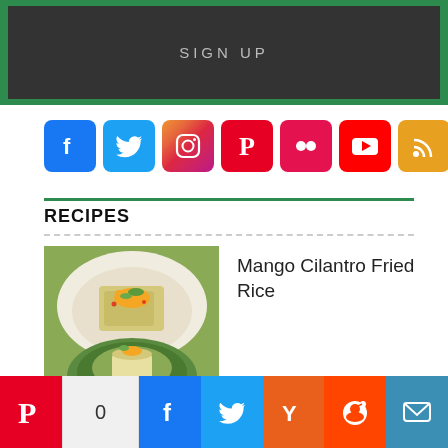[Figure (other): Green-bordered sign up banner with dark background and 'SIGN UP' text]
[Figure (other): Row of social media icons: Facebook, Twitter, Instagram, Pinterest, Flickr, YouTube, RSS]
RECIPES
[Figure (photo): Photo of mango cilantro fried rice dish in a bowl]
Mango Cilantro Fried Rice
Hoisin Veggie Tuna Sushi Roll
[Figure (other): Social share bar with Pinterest, count 0, Facebook, Twitter, Yummly, Reddit, Email buttons]